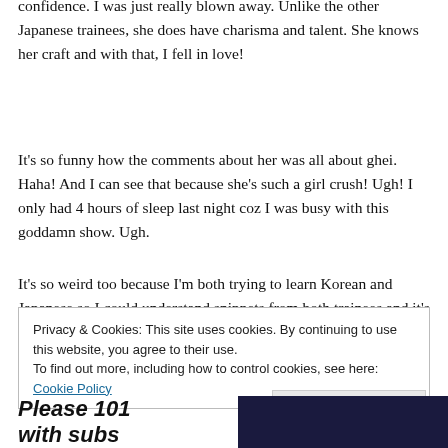confidence. I was just really blown away. Unlike the other Japanese trainees, she does have charisma and talent. She knows her craft and with that, I fell in love!
It's so funny how the comments about her was all about ghei. Haha! And I can see that because she's such a girl crush! Ugh! I only had 4 hours of sleep last night coz I was busy with this goddamn show. Ugh.
It's so weird too because I'm both trying to learn Korean and Japanese so I could understand snippets from both trainees and it's insane!!!
Privacy & Cookies: This site uses cookies. By continuing to use this website, you agree to their use.
To find out more, including how to control cookies, see here: Cookie Policy
Close and accept
Please 101
with subs